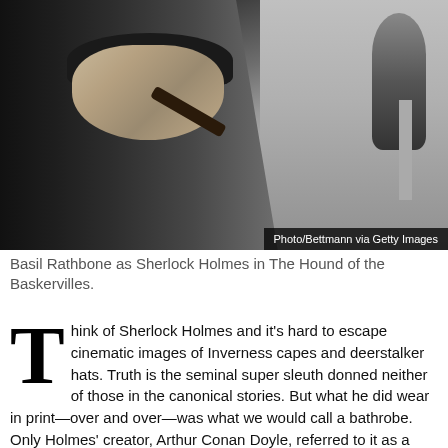[Figure (photo): Black and white photograph of Basil Rathbone as Sherlock Holmes in The Hound of the Baskervilles, holding a pipe, with a microphone visible in the background.]
Basil Rathbone as Sherlock Holmes in The Hound of the Baskervilles.
Think of Sherlock Holmes and it's hard to escape cinematic images of Inverness capes and deerstalker hats. Truth is the seminal super sleuth donned neither of those in the canonical stories. But what he did wear in print—over and over—was what we would call a bathrobe. Only Holmes' creator, Arthur Conan Doyle, referred to it as a dressing gown.